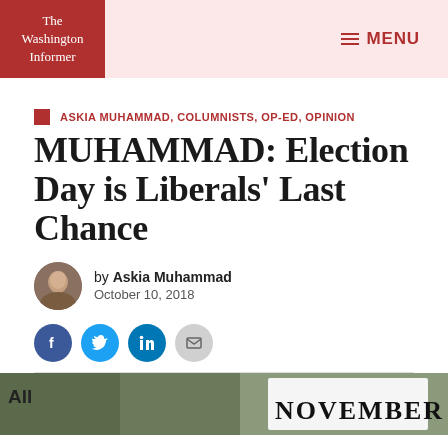The Washington Informer — MENU
ASKIA MUHAMMAD, COLUMNISTS, OP-ED, OPINION
MUHAMMAD: Election Day is Liberals' Last Chance
by Askia Muhammad
October 10, 2018
[Figure (other): Social sharing buttons: Facebook, Twitter, LinkedIn, Email]
[Figure (photo): Bottom photo strip showing protesters holding signs including 'NOVEMBER']